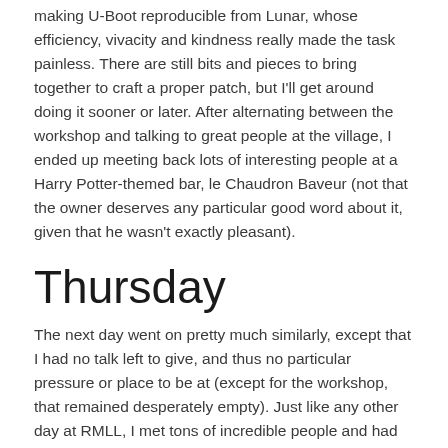making U-Boot reproducible from Lunar, whose efficiency, vivacity and kindness really made the task painless. There are still bits and pieces to bring together to craft a proper patch, but I'll get around doing it sooner or later. After alternating between the workshop and talking to great people at the village, I ended up meeting back lots of interesting people at a Harry Potter-themed bar, le Chaudron Baveur (not that the owner deserves any particular good word about it, given that he wasn't exactly pleasant).
Thursday
The next day went on pretty much similarly, except that I had no talk left to give, and thus no particular pressure or place to be at (except for the workshop, that remained desperately empty). Just like any other day at RMLL, I met tons of incredible people and had lots of interesting talks.